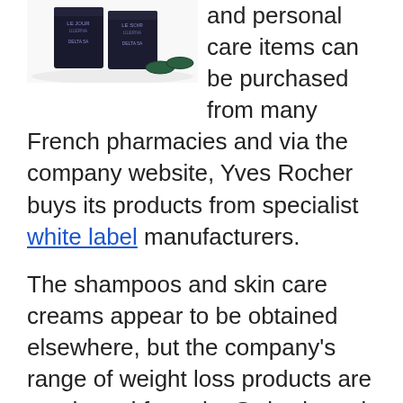[Figure (photo): Product photo showing dark packaging boxes and small round capsules/pills against a white background with shadow reflection]
and personal care items can be purchased from many French pharmacies and via the company website, Yves Rocher buys its products from specialist white label manufacturers.
The shampoos and skin care creams appear to be obtained elsewhere, but the company's range of weight loss products are purchased from the Swiss based manufacturer Peters Krizman.
Peters Krizman is respected manufacturer that is responsible for producing the AllerMed Active nasal spray that helps many people to control their allergies, but customer feedback suggests Défiligne Minceur may not be one of their better creations.
What is Défiligne Minceur and